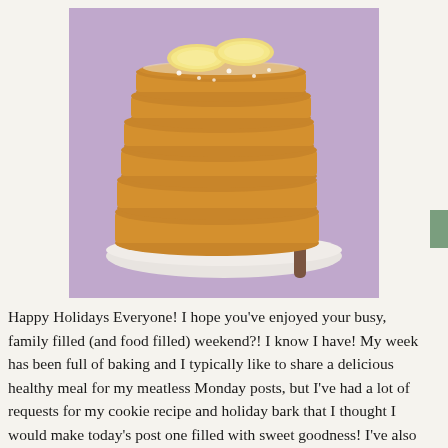[Figure (photo): A tall stack of golden-brown pancakes topped with banana slices and powdered sugar, on a white plate with a fork, against a purple background.]
Happy Holidays Everyone! I hope you've enjoyed your busy, family filled (and food filled) weekend?! I know I have! My week has been full of baking and I typically like to share a delicious healthy meal for my meatless Monday posts, but I've had a lot of requests for my cookie recipe and holiday bark that I thought I would make today's post one filled with sweet goodness! I've also included an easy breakfast treat that is perfect for those lazy mornings, when you want something hearty and filling. I'm